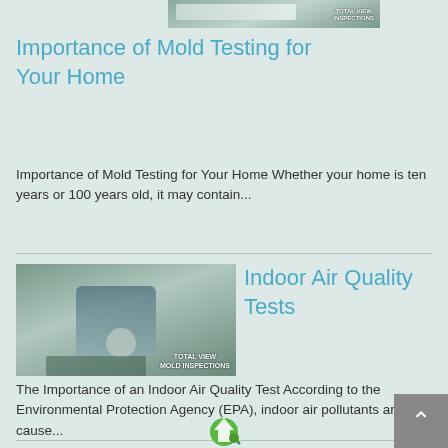[Figure (photo): Partial photo of a person with a home inspection logo badge, cropped at top of page]
Importance of Mold Testing for Your Home
Importance of Mold Testing for Your Home Whether your home is ten years or 100 years old, it may contain...
[Figure (photo): Inspector crouching outdoors near equipment on the ground, with TOTAL VIEW MOLD INSPECTIONS watermark]
Indoor Air Quality Tests
The Importance of an Indoor Air Quality Test According to the Environmental Protection Agency (EPA), indoor air pollutants are cause...